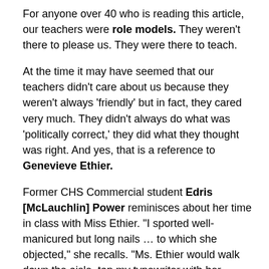For anyone over 40 who is reading this article, our teachers were role models. They weren't there to please us. They were there to teach.
At the time it may have seemed that our teachers didn't care about us because they weren't always 'friendly' but in fact, they cared very much. They didn't always do what was 'politically correct,' they did what they thought was right. And yes, that is a reference to Genevieve Ethier.
Former CHS Commercial student Edris [McLauchlin] Power reminisces about her time in class with Miss Ethier. "I sported well-manicured but long nails … to which she objected," she recalls. "Ms. Ethier would walk down the aisle, tap my typewriter with her wooden pointer and inform me that I 'must cut those nails prior to the next class!'"